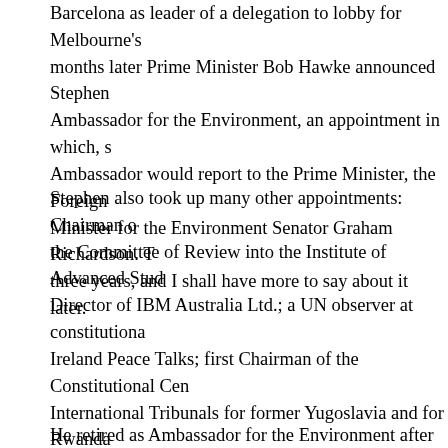Barcelona as leader of a delegation to lobby for Melbourne's months later Prime Minister Bob Hawke announced Stephen Ambassador for the Environment, an appointment in which, s Ambassador would report to the Prime Minister, the Foreign Minister for the Environment Senator Graham Richardson. T three years, and I shall have more to say about it later.
Stephen also took up many other appointments: Chairman o the Committee of Review into the Institute of Advanced Stud Director of IBM Australia Ltd.; a UN observer at constitiona Ireland Peace Talks; first Chairman of the Constitutional Cen International Tribunals for former Yugoslavia and for Rwanda talks in Bangladesh (where his effigy was burnt by protesters of Justice in a case brought by Portugal against Australia ove partial list of his wide-ranging appointments to national and i number of speeches, and he launched former Prime Minister
He retired as Ambassador for the Environment after three ye